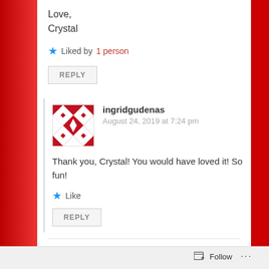Love,
Crystal
★ Liked by 1 person
REPLY
[Figure (illustration): Red and white geometric patterned avatar icon for user ingridgudenas]
ingridgudenas
August 24, 2019 at 7:24 pm
Thank you, Crystal! You would have loved it! So fun!
★ Like
REPLY
Follow ...